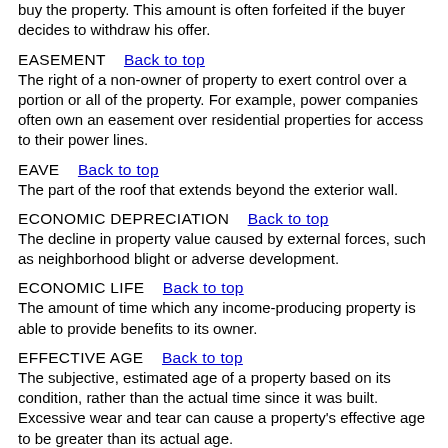buy the property. This amount is often forfeited if the buyer decides to withdraw his offer.
EASEMENT   Back to top
The right of a non-owner of property to exert control over a portion or all of the property. For example, power companies often own an easement over residential properties for access to their power lines.
EAVE   Back to top
The part of the roof that extends beyond the exterior wall.
ECONOMIC DEPRECIATION   Back to top
The decline in property value caused by external forces, such as neighborhood blight or adverse development.
ECONOMIC LIFE   Back to top
The amount of time which any income-producing property is able to provide benefits to its owner.
EFFECTIVE AGE   Back to top
The subjective, estimated age of a property based on its condition, rather than the actual time since it was built. Excessive wear and tear can cause a property's effective age to be greater than its actual age.
EMINENT DOMAIN   Back to top
The legal process whereby a government can take...